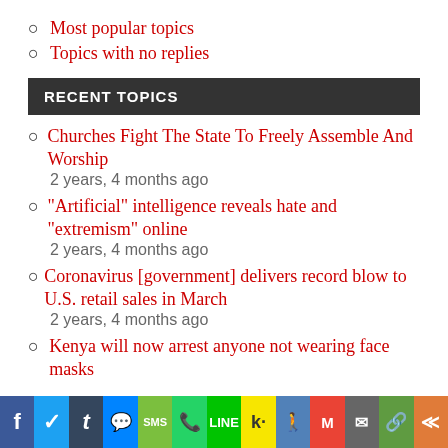Most popular topics
Topics with no replies
RECENT TOPICS
Churches Fight The State To Freely Assemble And Worship
2 years, 4 months ago
“Artificial” intelligence reveals hate and “extremism” online
2 years, 4 months ago
Coronavirus [government] delivers record blow to U.S. retail sales in March
2 years, 4 months ago
Kenya will now arrest anyone not wearing face masks